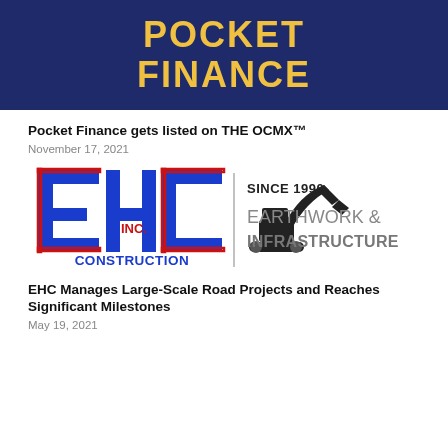[Figure (logo): Pocket Finance logo: navy blue background with 'POCKET FINANCE' in bold golden/yellow uppercase letters]
Pocket Finance gets listed on THE OCMX™
November 17, 2021
[Figure (logo): EHC Inc Construction logo: blue block letters 'EHC' with red outline and 'INC CONSTRUCTION' below, plus excavator silhouette and text 'SINCE 1990 EARTHWORK & INFRASTRUCTURE' on the right]
EHC Manages Large-Scale Road Projects and Reaches Significant Milestones
May 19, 2021